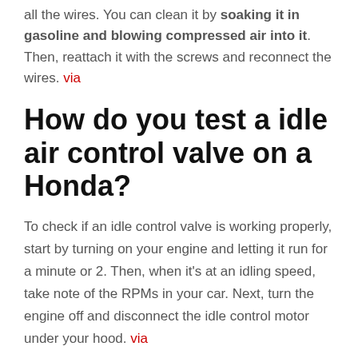all the wires. You can clean it by soaking it in gasoline and blowing compressed air into it. Then, reattach it with the screws and reconnect the wires. via
How do you test a idle air control valve on a Honda?
To check if an idle control valve is working properly, start by turning on your engine and letting it run for a minute or 2. Then, when it's at an idling speed, take note of the RPMs in your car. Next, turn the engine off and disconnect the idle control motor under your hood. via